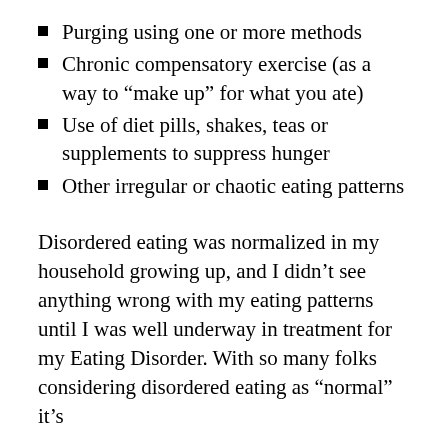Purging using one or more methods
Chronic compensatory exercise (as a way to “make up” for what you ate)
Use of diet pills, shakes, teas or supplements to suppress hunger
Other irregular or chaotic eating patterns
Disordered eating was normalized in my household growing up, and I didn’t see anything wrong with my eating patterns until I was well underway in treatment for my Eating Disorder. With so many folks considering disordered eating as “normal” it’s